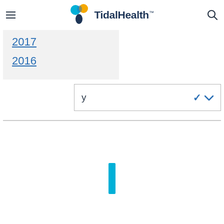TidalHealth
2017
2016
y
[Figure (illustration): Loading spinner - partial blue vertical bar/rectangle indicating page loading state]